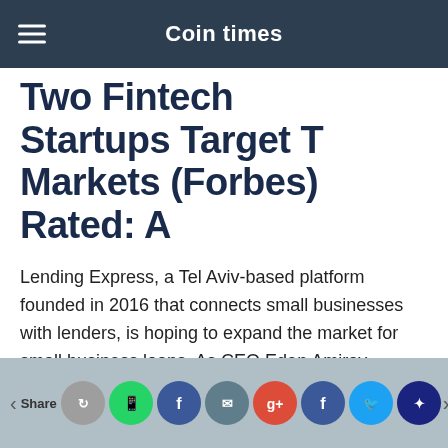Coin times
Two Fintech Startups Target T Markets (Forbes) Rated: A
Lending Express, a Tel Aviv-based platform founded in 2016 that connects small businesses with lenders, is hoping to expand the market for small business loans. As CEO Eden Amirav explained in an August 13 interview, Lending Express — which has raised $2.7 million in seed capital — has
Share